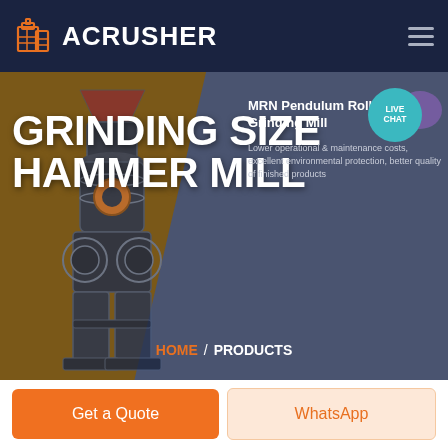[Figure (screenshot): ACRUSHER website header with orange building logo and white hamburger menu icon on dark navy background]
GRINDING SIZE HAMMER MILL
[Figure (photo): Industrial hammer mill / pendulum roller grinding mill machine, dark metallic, on brownish background]
MRN Pendulum Roller Grinding Mill
Lower operational & maintenance costs, excellent environmental protection, better quality of finished products
HOME / PRODUCTS
Get a Quote
WhatsApp